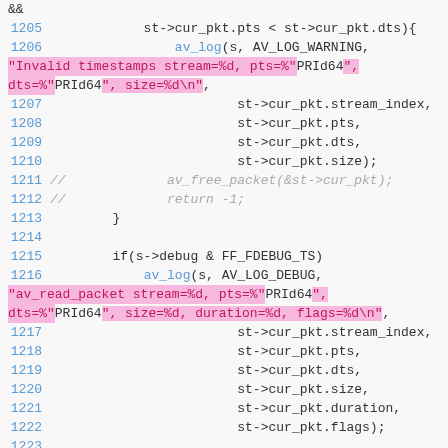Source code listing lines 1205-1223, C code for av_log and av_read_packet handling with highlighted string literals